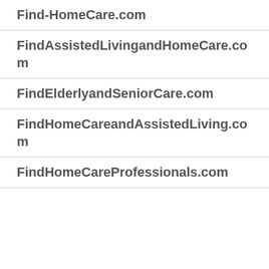| Find-HomeCare.com |
| FindAssistedLivingandHomeCare.com |
| FindElderlyandSeniorCare.com |
| FindHomeCareandAssistedLiving.com |
| FindHomeCareProfessionals.com |